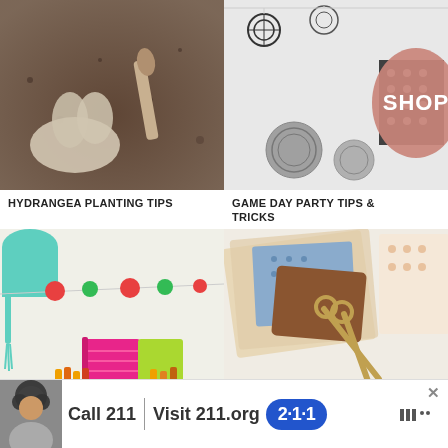[Figure (photo): Gardening gloves and trowel in soil for hydrangea planting]
HYDRANGEA PLANTING TIPS
[Figure (photo): Party decorations including yarn balls, polka dot paper, and pinwheels with a pink SHOP badge]
GAME DAY PARTY TIPS & TRICKS
[Figure (photo): Colorful homework caddy box with pencils, notebooks and craft supplies]
[Figure (photo): Fabric and craft supplies including scissors, patterned cloth, and gift wrapping]
[Figure (screenshot): Advertisement banner: Call 211 | Visit 211.org with 2-1-1 badge logo and person photo]